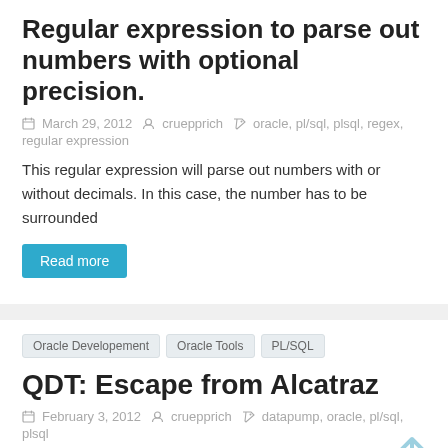Regular expression to parse out numbers with optional precision.
March 29, 2012  cruepprich  oracle, pl/sql, plsql, regex, regular expression
This regular expression will parse out numbers with or without decimals. In this case, the number has to be surrounded
Read more
Oracle Developement
Oracle Tools
PL/SQL
QDT: Escape from Alcatraz
February 3, 2012  cruepprich  datapump, oracle, pl/sql, plsql
Quick Datapump Trick Using the expdp/impdp datapump